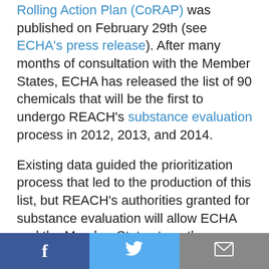Rolling Action Plan (CoRAP) was published on February 29th (see ECHA's press release). After many months of consultation with the Member States, ECHA has released the list of 90 chemicals that will be the first to undergo REACH's substance evaluation process in 2012, 2013, and 2014.
Existing data guided the prioritization process that led to the production of this list, but REACH's authorities granted for substance evaluation will allow ECHA and the Member States to gather new information to fill data gaps. This new information will help to improve